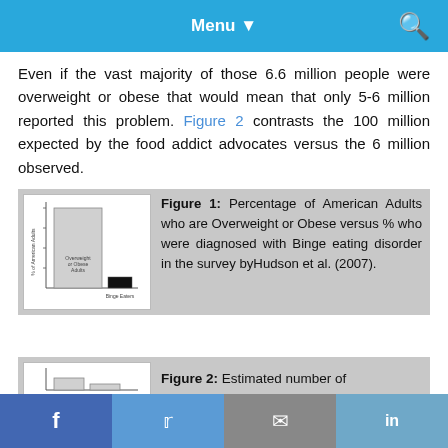Menu
Even if the vast majority of those 6.6 million people were overweight or obese that would mean that only 5-6 million reported this problem. Figure 2 contrasts the 100 million expected by the food addict advocates versus the 6 million observed.
[Figure (bar-chart): Bar chart showing two bars: Overweight or Obese Adults and Binge Eaters]
Figure 1: Percentage of American Adults who are Overweight or Obese versus % who were diagnosed with Binge eating disorder in the survey byHudson et al. (2007).
Figure 2: Estimated number of